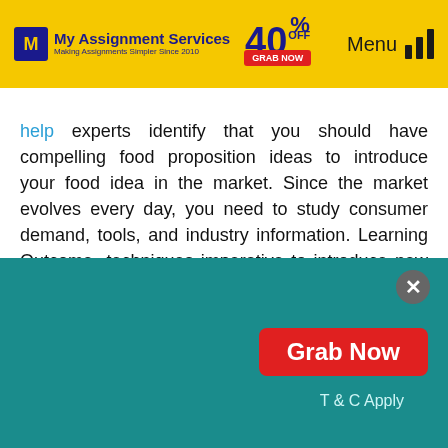My Assignment Services — 40% OFF — Grab Now — Menu
help experts identify that you should have compelling food proposition ideas to introduce your food idea in the market. Since the market evolves every day, you need to study consumer demand, tools, and industry information. Learning Outcome- techniques imperative to introduce new food ideas have an entrepreneurial mindset.
[Figure (illustration): Bottom card with icons for website, computer/monitor, and user/profile, partially visible above teal overlay]
[Figure (infographic): Teal promotional overlay with Grab Now red button and T & C Apply text and close X button]